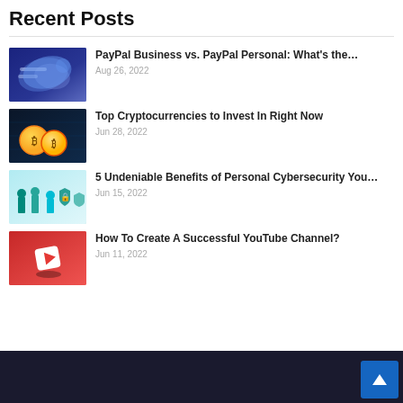Recent Posts
[Figure (photo): Blue gradient image with hands shaking, representing PayPal payment]
PayPal Business vs. PayPal Personal: What's the…
Aug 26, 2022
[Figure (photo): Dark background with gold bitcoin coins, representing cryptocurrency]
Top Cryptocurrencies to Invest In Right Now
Jun 28, 2022
[Figure (illustration): Light blue background with cartoon figures and cybersecurity icons]
5 Undeniable Benefits of Personal Cybersecurity You…
Jun 15, 2022
[Figure (photo): Red background with white YouTube play button icon]
How To Create A Successful YouTube Channel?
Jun 11, 2022